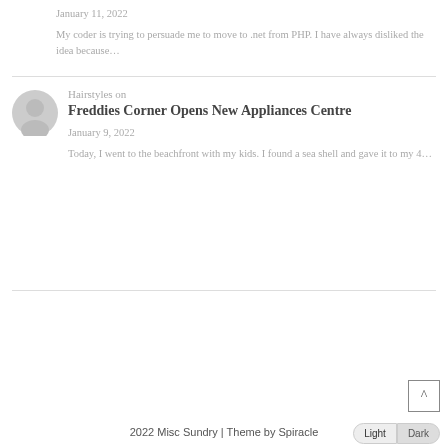January 11, 2022
My coder is trying to persuade me to move to .net from PHP. I have always disliked the idea because…
Hairstyles on Freddies Corner Opens New Appliances Centre
January 9, 2022
Today, I went to the beachfront with my kids. I found a sea shell and gave it to my 4…
2022 Misc Sundry | Theme by Spiracle